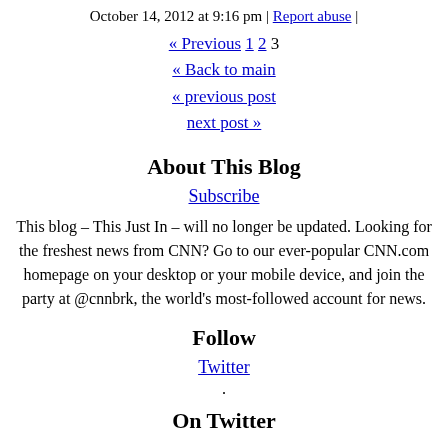October 14, 2012 at 9:16 pm | Report abuse |
« Previous 1 2 3
« Back to main
« previous post
next post »
About This Blog
Subscribe
This blog – This Just In – will no longer be updated. Looking for the freshest news from CNN? Go to our ever-popular CNN.com homepage on your desktop or your mobile device, and join the party at @cnnbrk, the world's most-followed account for news.
Follow
Twitter
.
On Twitter